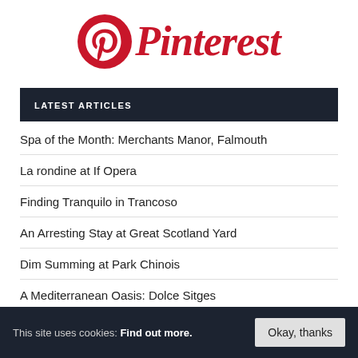[Figure (logo): Pinterest logo: red circular P icon followed by red italic 'Pinterest' wordmark]
LATEST ARTICLES
Spa of the Month: Merchants Manor, Falmouth
La rondine at If Opera
Finding Tranquilo in Trancoso
An Arresting Stay at Great Scotland Yard
Dim Summing at Park Chinois
A Mediterranean Oasis: Dolce Sitges
This site uses cookies: Find out more.  Okay, thanks